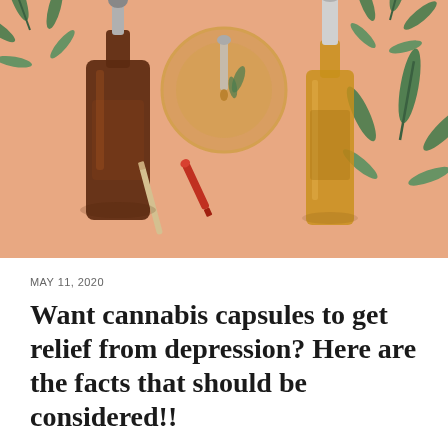[Figure (photo): Flat-lay product photo on a peach/salmon background showing CBD oil bottles and cannabis leaves. A large dark amber dropper bottle on the left, a glass bowl with cannabis leaf in the center, a tall amber glass bottle with dropper on the right, a small red vial/pen in the middle-lower area, and green cannabis leaves scattered around.]
MAY 11, 2020
Want cannabis capsules to get relief from depression? Here are the facts that should be considered!!
As we know, cbd is extracted from organic cannabis plants to get relief from chronic pain and